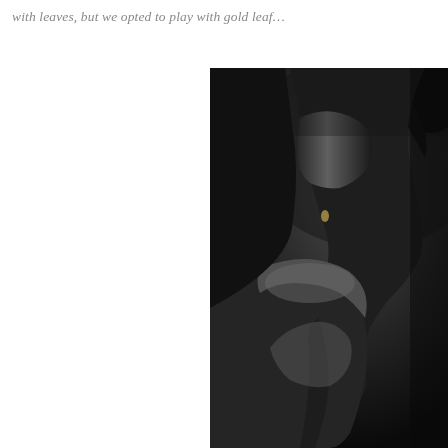with leaves, but we opted to play with gold leaf…
[Figure (photo): Black and white artistic photograph of a person's neck, shoulder and back silhouette against a dark background, with dramatic chiaroscuro lighting highlighting the contours of the skin.]